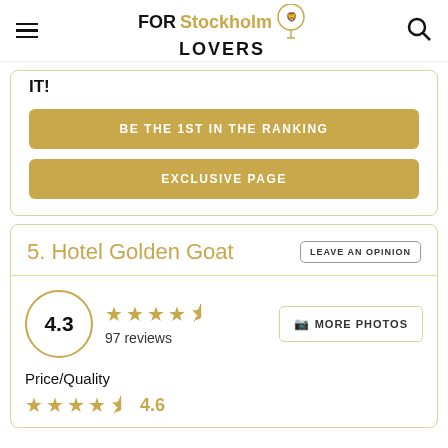FOR Stockholm LOVERS
IT!
BE THE 1ST IN THE RANKING
EXCLUSIVE PAGE
5. Hotel Golden Goat
4.3  97 reviews
MORE PHOTOS
Price/Quality
4.6